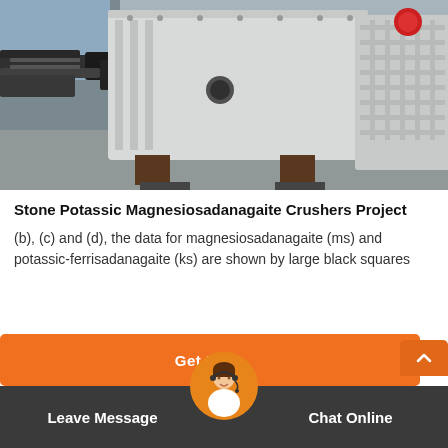[Figure (photo): Industrial stone crusher machine photographed in a warehouse or factory setting. Large white/grey crushing equipment visible with ribbed body panels, support legs, and mechanical components on the left side. A second crusher unit is partially visible on the right.]
Stone Potassic Magnesiosadanagaite Crushers Project
(b), (c) and (d), the data for magnesiosadanagaite (ms) and potassic-ferrisadanagaite (ks) are shown by large black squares
[Figure (screenshot): Orange 'Get Price' button bar with a small upward chevron arrow tab on the right side. Below it is a dark grey bar with 'Leave Message' on the left and 'Chat Online' on the right, and a circular avatar image of a customer service agent in the center overlapping both bars.]